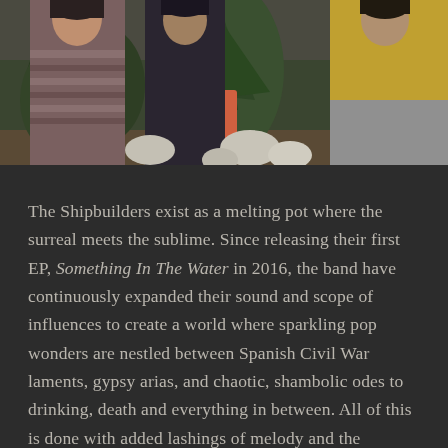[Figure (photo): A group photo of band members (The Shipbuilders) standing outdoors among lush garden plants including large spiky agave/yucca plants and ferns. People wearing a striped sweater on left and a yellow/mustard jacket on right.]
The Shipbuilders exist as a melting pot where the surreal meets the sublime. Since releasing their first EP, Something In The Water in 2016, the band have continuously expanded their sound and scope of influences to create a world where sparkling pop wonders are nestled between Spanish Civil War laments, gypsy arias, and chaotic, shambolic odes to drinking, death and everything in between. All of this is done with added lashings of melody and the writings of Garcia Lorca and James Joyce, dictating that the wonder of the beauty of the world – and beyond – is never overlooked.